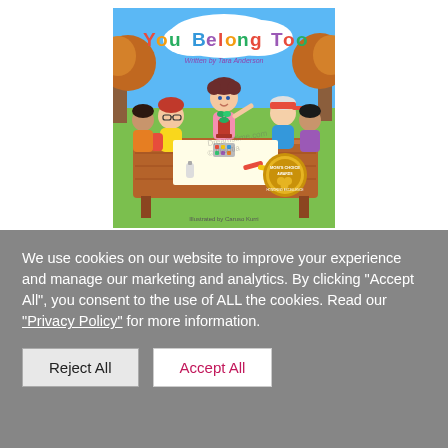[Figure (illustration): Book cover of 'You Belong Too' written by Tara Anderson, illustrated by Caruso Kurri. Shows cartoon children of diverse backgrounds sitting around a wooden table doing crafts outdoors, with trees in the background. Features a Mom's Choice Award gold seal in the bottom right corner. The title is in rainbow-colored bubble letters.]
We use cookies on our website to improve your experience and manage our marketing and analytics. By clicking "Accept All", you consent to the use of ALL the cookies. Read our "Privacy Policy" for more information.